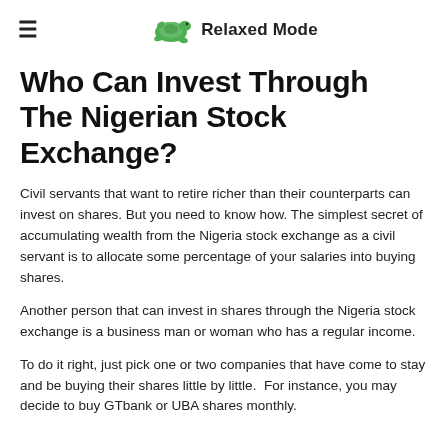Relaxed Mode
Who Can Invest Through The Nigerian Stock Exchange?
Civil servants that want to retire richer than their counterparts can invest on shares. But you need to know how. The simplest secret of accumulating wealth from the Nigeria stock exchange as a civil servant is to allocate some percentage of your salaries into buying shares.
Another person that can invest in shares through the Nigeria stock exchange is a business man or woman who has a regular income.
To do it right, just pick one or two companies that have come to stay and be buying their shares little by little.  For instance, you may decide to buy GTbank or UBA shares monthly.